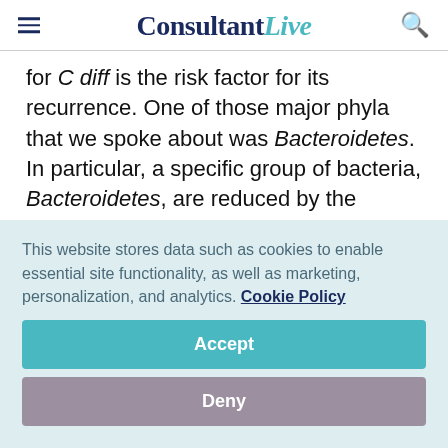ConsultantLive
for C diff is the risk factor for its recurrence. One of those major phyla that we spoke about was Bacteroidetes. In particular, a specific group of bacteria, Bacteroidetes, are reduced by the presence of vancomycin. We were using this treatment to suppress C diff, but at the same time, we're suppressing the colonization
This website stores data such as cookies to enable essential site functionality, as well as marketing, personalization, and analytics. Cookie Policy
Accept
Deny